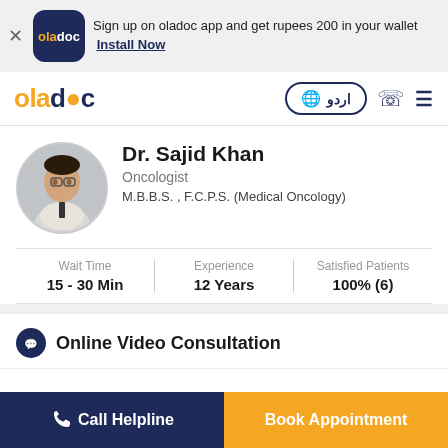Sign up on oladoc app and get rupees 200 in your wallet  Install Now
[Figure (logo): oladoc logo in navy rounded square]
[Figure (logo): oladoc navigation logo with globe/language button, phone icon, hamburger menu]
[Figure (photo): Circular profile photo of Dr. Sajid Khan]
Dr. Sajid Khan
Oncologist
M.B.B.S. , F.C.P.S. (Medical Oncology)
| Wait Time | Experience | Satisfied Patients |
| --- | --- | --- |
| 15 - 30 Min | 12 Years | 100% (6) |
Online Video Consultation
Call Helpline
Book Appointment